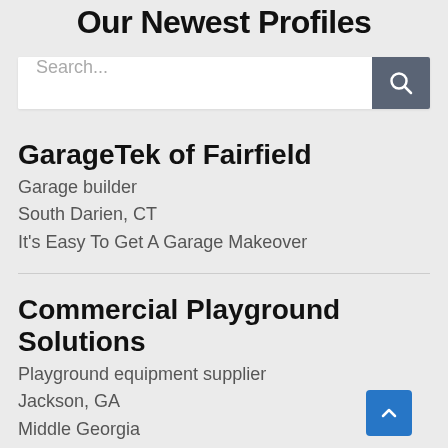Our Newest Profiles
[Figure (screenshot): Search bar with text input placeholder 'Search...' and a dark grey search button with magnifying glass icon]
GarageTek of Fairfield
Garage builder
South Darien, CT
It's Easy To Get A Garage Makeover
Commercial Playground Solutions
Playground equipment supplier
Jackson, GA
Middle Georgia